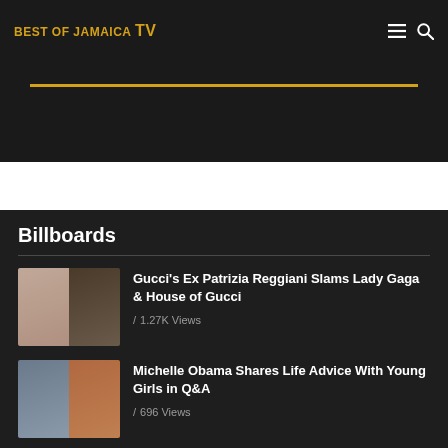BEST OF JAMAICA TV
Billboards
Gucci's Ex Patrizia Reggiani Slams Lady Gaga & House of Gucci / 1.27K Views
Michelle Obama Shares Life Advice With Young Girls in Q&A / 696 Views